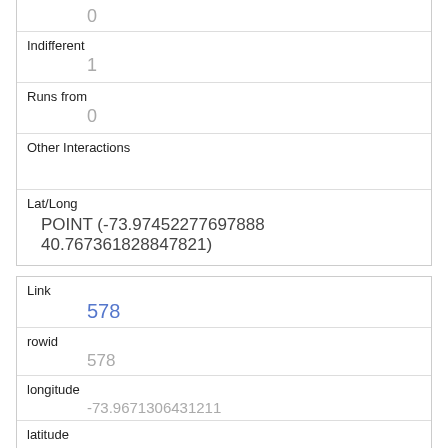|  | 0 |
| Indifferent | 1 |
| Runs from | 0 |
| Other Interactions |  |
| Lat/Long | POINT (-73.97452277697888 40.767361828847821) |
| Link | 578 |
| rowid | 578 |
| longitude | -73.9671306431211 |
| latitude | 40.783887015905705 |
| Unique Squirrel ID | 22C-PM-1006-05 |